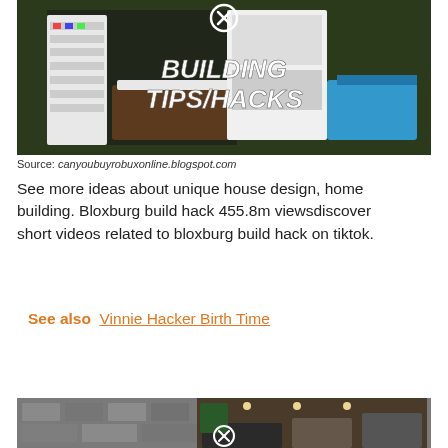[Figure (screenshot): Screenshot of a Roblox Bloxburg game scene showing a room interior with white shelving units and furniture, overlaid with stylized white italic text reading 'BUILDING TIPS/HACKS' and a close/X button circle at the top center.]
Source: canyoubuyrobuxonline.blogspot.com
See more ideas about unique house design, home building. Bloxburg build hack 455.8m viewsdiscover short videos related to bloxburg build hack on tiktok.
See also  Vinnie Hacker Birth Time
[Figure (screenshot): Partial screenshot of a modern house build in Roblox Bloxburg, showing stone exterior walls, a modern interior with ceiling lights, and a close/X button circle at the center bottom.]